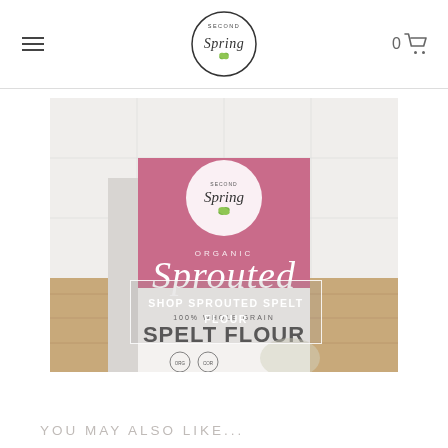Second Spring — Navigation header with logo, menu icon, and cart
[Figure (photo): Box of Second Spring Organic Sprouted 100% Whole Grain Spelt Flour product on a wooden surface with a white tile background, with a semi-transparent overlay button reading SHOP SPROUTED SPELT FLOUR]
YOU MAY ALSO LIKE...